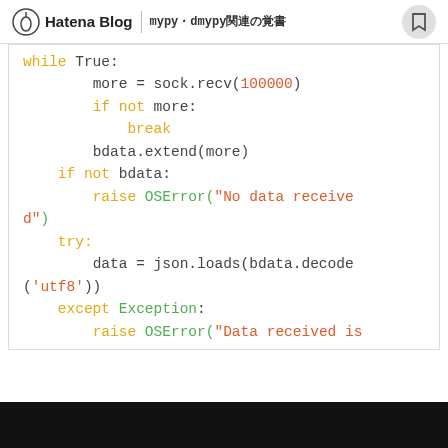Hatena Blog | mypy・dmypy関連の覚書
Python code snippet showing socket receive loop with JSON parsing and error handling